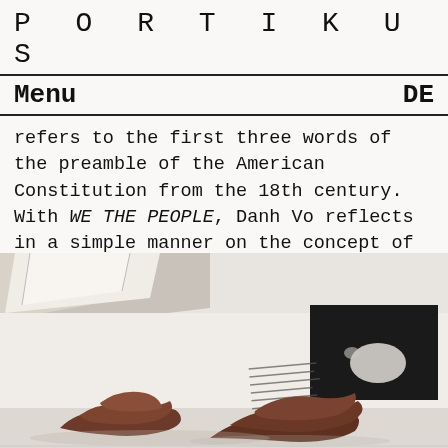P O R T I K U S
Menu  DE
refers to the first three words of the preamble of the American Constitution from the 18th century. With WE THE PEOPLE, Danh Vo reflects in a simple manner on the concept of freedom and, with the unassembled details, shows how fragile freedom is and that although we regard it as self-evident, it must be protected and preserved.
[Figure (photo): Gallery interior showing a white room with artworks: a dark square artwork on the wall, text on the wall, and brown sculptural objects on the floor in the foreground.]